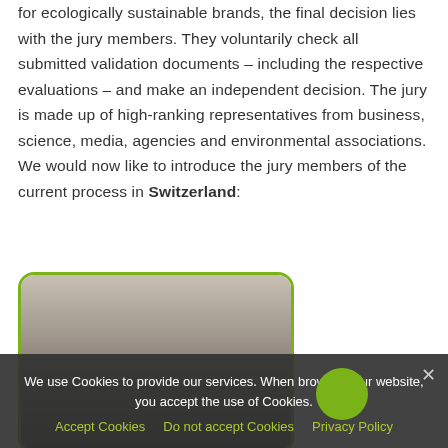for ecologically sustainable brands, the final decision lies with the jury members. They voluntarily check all submitted validation documents – including the respective evaluations – and make an independent decision. The jury is made up of high-ranking representatives from business, science, media, agencies and environmental associations. We would now like to introduce the jury members of the current process in Switzerland:
[Figure (photo): Partially visible photo of a person, shown inside a rounded rectangle with green border, partially obscured by cookie consent banner]
We use Cookies to provide our services. When browsing our website, you accept the use of Cookies.
Accept Cookies   Do not accept Cookies   Privacy Policy